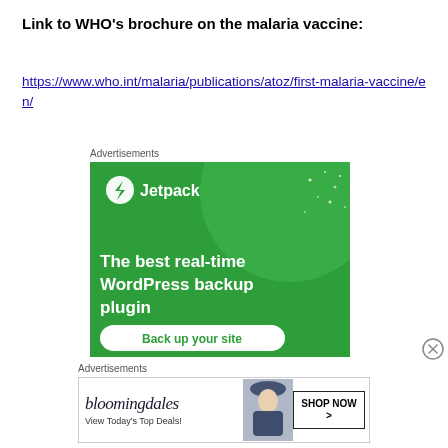Link to WHO's brochure on the malaria vaccine:
https://www.who.int/malaria/publications/atoz/first-malaria-vaccine/en/
Advertisements
[Figure (illustration): Jetpack advertisement: green background with large circle graphic, Jetpack logo and text 'The best real-time WordPress backup plugin' with a 'Back up your site' button]
Advertisements
[Figure (illustration): Bloomingdale's advertisement with logo, 'View Today's Top Deals!' text, woman in hat photo, and 'SHOP NOW >' button]